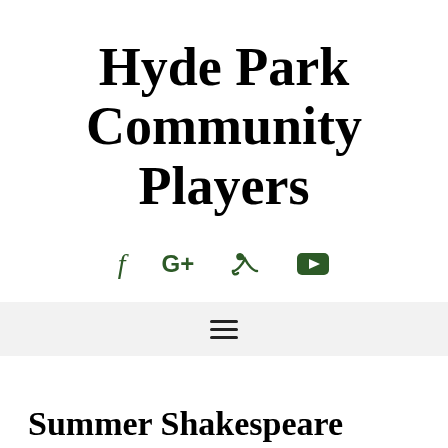Hyde Park Community Players
[Figure (infographic): Social media icons: Facebook (f), Google+ (G+), Twitter (bird), YouTube (play button rectangle). Icons are dark green colored.]
[Figure (infographic): Hamburger menu icon (three horizontal lines) on a light gray navigation bar.]
Summer Shakespeare Returns to Nichols Park